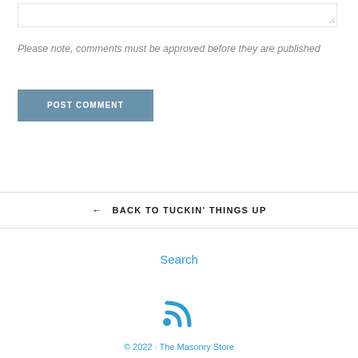Please note, comments must be approved before they are published
POST COMMENT
← BACK TO TUCKIN' THINGS UP
Search
[Figure (illustration): RSS feed icon in blue]
© 2022 · The Masonry Store